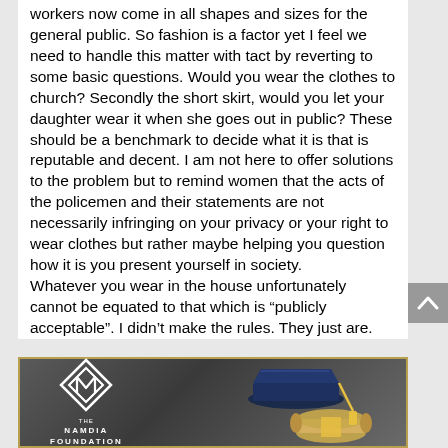workers now come in all shapes and sizes for the general public. So fashion is a factor yet I feel we need to handle this matter with tact by reverting to some basic questions. Would you wear the clothes to church? Secondly the short skirt, would you let your daughter wear it when she goes out in public? These should be a benchmark to decide what it is that is reputable and decent. I am not here to offer solutions to the problem but to remind women that the acts of the policemen and their statements are not necessarily infringing on your privacy or your right to wear clothes but rather maybe helping you question how it is you present yourself in society.
Whatever you wear in the house unfortunately cannot be equated to that which is “publicly acceptable”. I didn’t make the rules. They just are.
[Figure (logo): Namdia Foundation logo with graduation cap and diploma on dark background with gold border]